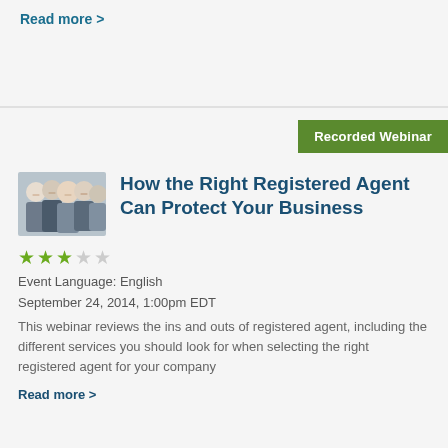Read more >
Recorded Webinar
[Figure (photo): Group of business professionals smiling]
How the Right Registered Agent Can Protect Your Business
★★★☆☆
Event Language: English
September 24, 2014, 1:00pm EDT
This webinar reviews the ins and outs of registered agent, including the different services you should look for when selecting the right registered agent for your company
Read more >